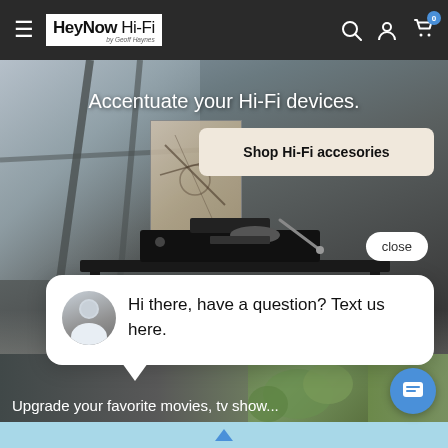[Figure (screenshot): Navigation bar with hamburger menu, HeyNow Hi-Fi logo, search, account and cart icons on dark background]
[Figure (photo): Hi-Fi equipment on a black table in a modern room with large windows]
Accentuate your Hi-Fi devices.
Shop Hi-Fi accesories
close
Hi there, have a question? Text us here.
Upgrade your favorite movies, tv show...
[Figure (photo): Second section with greenery and dark background showing partial text about movies and TV shows]
[Figure (other): Blue chat bubble button and light blue bottom navigation bar with upward arrow]